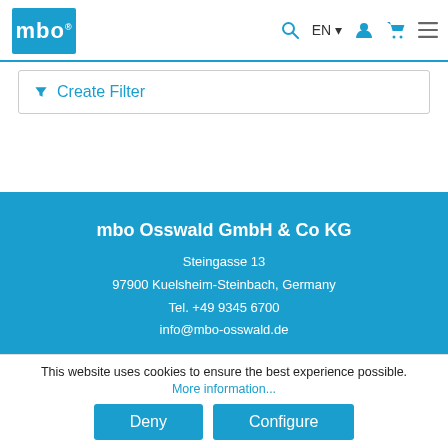[Figure (logo): mbo logo — white text on blue square background with registered trademark symbol]
Create Filter
mbo Osswald GmbH & Co KG
Steingasse 13
97900 Kuelsheim-Steinbach, Germany
Tel. +49 9345 6700
info@mbo-osswald.de
[Figure (logo): YouTube and Facebook social media icons in white rounded-square buttons]
Shop service
This website uses cookies to ensure the best experience possible.
More information...
Deny
Configure